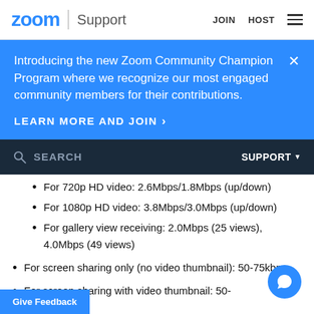zoom | Support   JOIN   HOST
Introducing the new Zoom Community Champion Program where we recognize our most engaged community members for their contributions.
LEARN MORE AND JOIN >
SEARCH   SUPPORT
For 720p HD video: 2.6Mbps/1.8Mbps (up/down)
For 1080p HD video: 3.8Mbps/3.0Mbps (up/down)
For gallery view receiving: 2.0Mbps (25 views), 4.0Mbps (49 views)
For screen sharing only (no video thumbnail): 50-75kbps
For screen sharing with video thumbnail: 50-